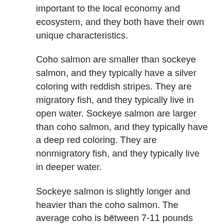important to the local economy and ecosystem, and they both have their own unique characteristics.
Coho salmon are smaller than sockeye salmon, and they typically have a silver coloring with reddish stripes. They are migratory fish, and they typically live in open water. Sockeye salmon are larger than coho salmon, and they typically have a deep red coloring. They are nonmigratory fish, and they typically live in deeper water.
Sockeye salmon is slightly longer and heavier than the coho salmon. The average coho is between 7-11 pounds while the
x